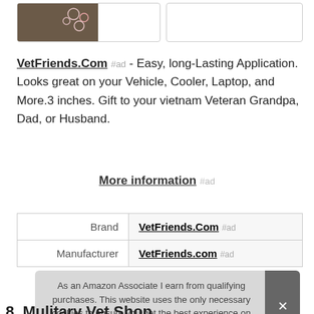[Figure (photo): Product image thumbnail on left side, empty box on right]
VetFriends.Com #ad - Easy, long-Lasting Application. Looks great on your Vehicle, Cooler, Laptop, and More.3 inches. Gift to your vietnam Veteran Grandpa, Dad, or Husband.
More information #ad
| Brand | VetFriends.Com #ad |
| Manufacturer | VetFriends.com #ad |
As an Amazon Associate I earn from qualifying purchases. This website uses the only necessary cookies to ensure you get the best experience on our website. More information
8. Mulitary Vet Shop